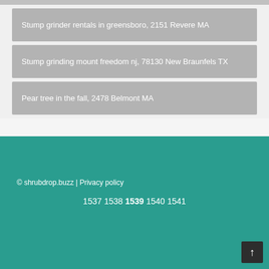Stump grinder rentals in greensboro, 2151 Revere MA
Stump grinding mount freedom nj, 78130 New Braunfels TX
Pear tree in the fall, 2478 Belmont MA
© shrubdrop.buzz | Privacy policy
1537 1538 1539 1540 1541